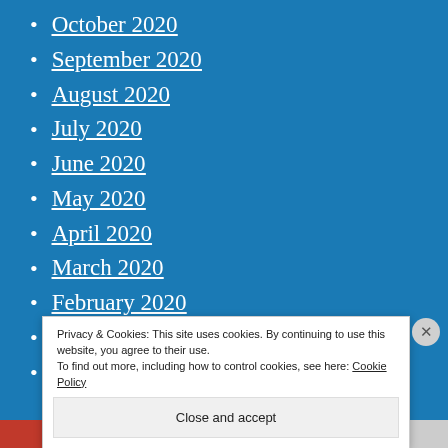October 2020
September 2020
August 2020
July 2020
June 2020
May 2020
April 2020
March 2020
February 2020
January 2020
December 2019
Privacy & Cookies: This site uses cookies. By continuing to use this website, you agree to their use.
To find out more, including how to control cookies, see here: Cookie Policy
Close and accept